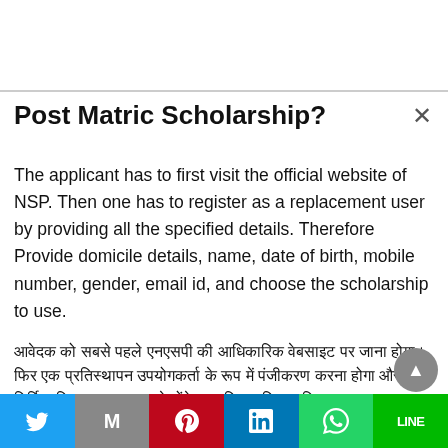Post Matric Scholarship?
The applicant has to first visit the official website of NSP. Then one has to register as a replacement user by providing all the specified details. Therefore Provide domicile details, name, date of birth, mobile number, gender, email id, and choose the scholarship to use.
[Hindi text content about scholarship registration process]
Twitter | Gmail | Pinterest | LinkedIn | WhatsApp | LINE